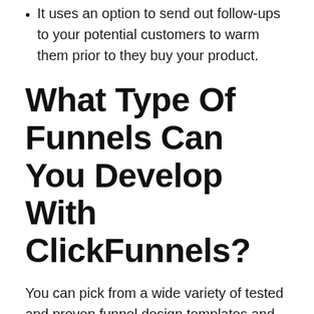It uses an option to send out follow-ups to your potential customers to warm them prior to they buy your product.
What Type Of Funnels Can You Develop With ClickFunnels?
You can pick from a wide variety of tested and proven funnel design templates and produce a high conversion rate. You can have access to both totally free and paid choices when you pick a funnel type. While